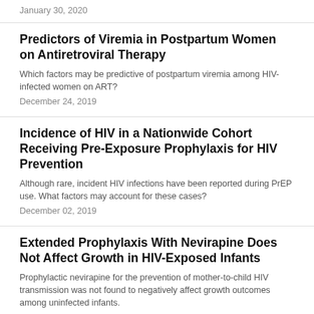January 30, 2020
Predictors of Viremia in Postpartum Women on Antiretroviral Therapy
Which factors may be predictive of postpartum viremia among HIV-infected women on ART?
December 24, 2019
Incidence of HIV in a Nationwide Cohort Receiving Pre-Exposure Prophylaxis for HIV Prevention
Although rare, incident HIV infections have been reported during PrEP use. What factors may account for these cases?
December 02, 2019
Extended Prophylaxis With Nevirapine Does Not Affect Growth in HIV-Exposed Infants
Prophylactic nevirapine for the prevention of mother-to-child HIV transmission was not found to negatively affect growth outcomes among uninfected infants.
November 15, 2019